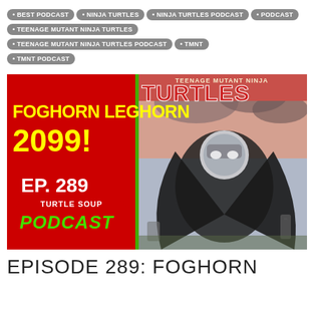BEST PODCAST
NINJA TURTLES
NINJA TURTLES PODCAST
PODCAST
TEENAGE MUTANT NINJA TURTLES
TEENAGE MUTANT NINJA TURTLES PODCAST
TMNT
TMNT PODCAST
[Figure (illustration): Podcast cover art for Turtle Soup Podcast Episode 289 titled Foghorn Leghorn 2099. Left half is red background with yellow bold text FOGHORN LEGHORN 2099! and white text EP. 289, with TURTLE SOUP PODCAST logo in green. Right half shows Teenage Mutant Ninja Turtles comic cover artwork featuring a dark armored figure in a cemetery setting.]
EPISODE 289: FOGHORN